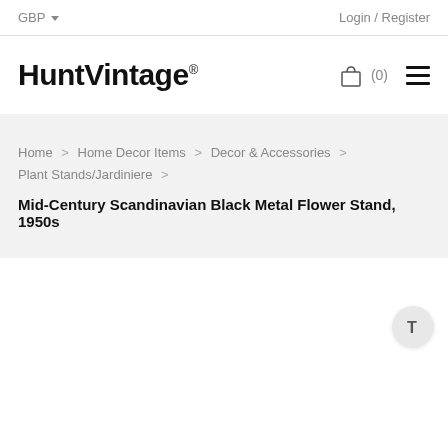GBP  Login / Register
[Figure (logo): HuntVintage logo with registered trademark symbol, shopping cart icon with (0) count, and hamburger menu icon]
Home > Home Decor Items > Decor & Accessories > Plant Stands/Jardiniere > Mid-Century Scandinavian Black Metal Flower Stand, 1950s